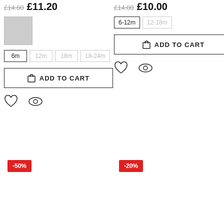£14.00 £11.20
[Figure (other): Grey color swatch square]
6m, 12m, 18m, 18-24m size options
ADD TO CART
[Figure (other): Heart icon and eye icon]
£14.00 £10.00
6-12m, 12-18m size options
ADD TO CART
[Figure (other): Heart icon and eye icon]
-50%
-20%